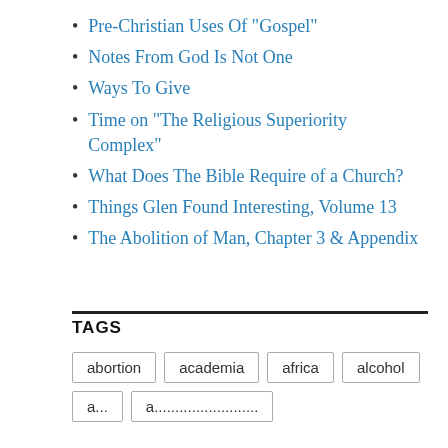Pre-Christian Uses Of "Gospel"
Notes From God Is Not One
Ways To Give
Time on “The Religious Superiority Complex”
What Does The Bible Require of a Church?
Things Glen Found Interesting, Volume 13
The Abolition of Man, Chapter 3 & Appendix
TAGS
abortion  academia  africa  alcohol